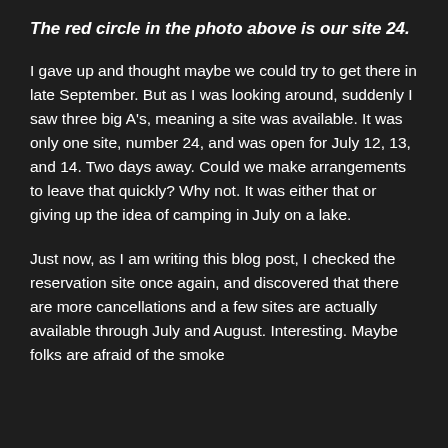The red circle in the photo above is our site 24.
I gave up and thought maybe we could try to get there in late September.  But as I was looking around, suddenly I saw three big A's, meaning a site was available.  It was only one site, number 24, and was open for July 12, 13, and 14.  Two days away.  Could we make arrangements to leave that quickly?  Why not.  It was either that or giving up the idea of camping in July on a lake.
Just now, as I am writing this blog post, I checked the reservation site once again, and discovered that there are more cancellations and a few sites are actually available through July and August.  Interesting.  Maybe folks are afraid of the smoke